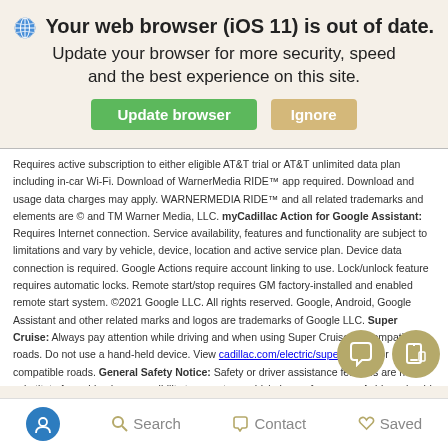Your web browser (iOS 11) is out of date. Update your browser for more security, speed and the best experience on this site.
Requires active subscription to either eligible AT&T trial or AT&T unlimited data plan including in-car Wi-Fi. Download of WarnerMedia RIDE™ app required. Download and usage data charges may apply. WARNERMEDIA RIDE™ and all related trademarks and elements are © and TM Warner Media, LLC. myCadillac Action for Google Assistant: Requires Internet connection. Service availability, features and functionality are subject to limitations and vary by vehicle, device, location and active service plan. Device data connection is required. Google Actions require account linking to use. Lock/unlock feature requires automatic locks. Remote start/stop requires GM factory-installed and enabled remote start system. ©2021 Google LLC. All rights reserved. Google, Android, Google Assistant and other related marks and logos are trademarks of Google LLC. Super Cruise: Always pay attention while driving and when using Super Cruise for compatible roads. Do not use a hand-held device. View cadillac.com/electric/super-cruise for compatible roads. General Safety Notice: Safety or driver assistance features are no substitute for a driver's responsibility to operate a vehicle in a safe manner. A driver should remain attentive to traffic, surroundings and road conditions at all times. Visibility, weather and road conditions may affect performance. Read your vehicle's Owner's Manual for important feature limitations and information. my
Accessibility  Search  Contact  Saved